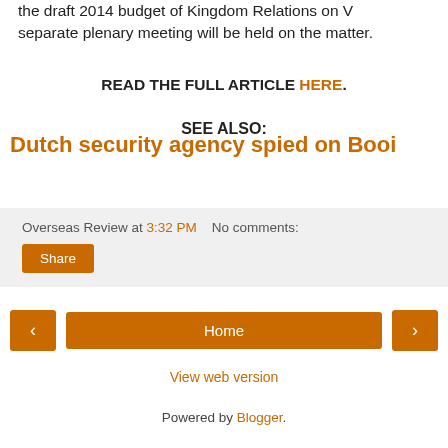the draft 2014 budget of Kingdom Relations on V... separate plenary meeting will be held on the matter.
READ THE FULL ARTICLE HERE.
SEE ALSO:
Dutch security agency spied on Booi
Overseas Review at 3:32 PM   No comments:
Share
Home
View web version
Powered by Blogger.